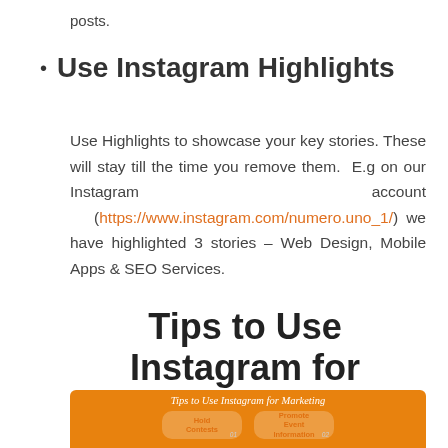posts.
Use Instagram Highlights
Use Highlights to showcase your key stories. These will stay till the time you remove them. E.g on our Instagram account (https://www.instagram.com/numero.uno_1/) we have highlighted 3 stories – Web Design, Mobile Apps & SEO Services.
Tips to Use Instagram for Marketing
[Figure (infographic): Infographic titled 'Tips to Use Instagram for Marketing' on orange background with two visible card items: '01 Hold Contests' and '02 Promote Event Information']